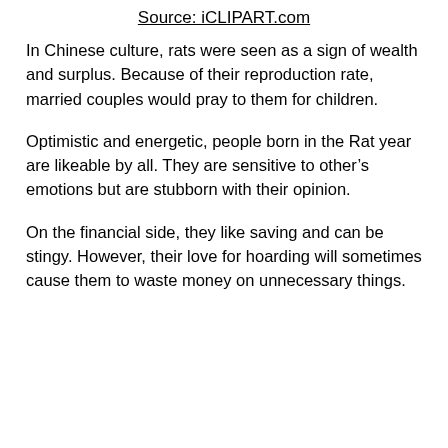Source: iCLIPART.com
In Chinese culture, rats were seen as a sign of wealth and surplus. Because of their reproduction rate, married couples would pray to them for children.
Optimistic and energetic, people born in the Rat year are likeable by all. They are sensitive to other’s emotions but are stubborn with their opinion.
On the financial side, they like saving and can be stingy. However, their love for hoarding will sometimes cause them to waste money on unnecessary things.